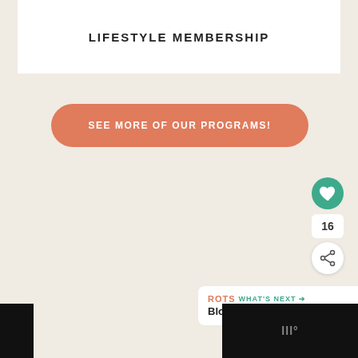LIFESTYLE MEMBERSHIP
SEE MORE OF OUR PROGRAMS!
16
WHAT'S NEXT → Blog
[Figure (logo): Website UI footer with dark bars and logo mark]